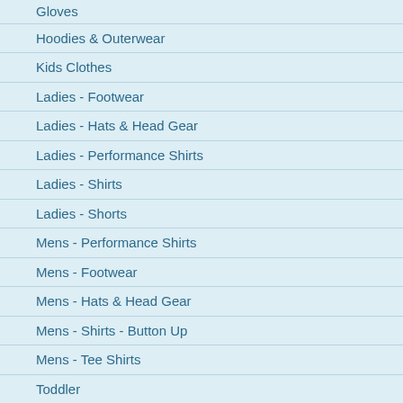Gloves
Hoodies & Outerwear
Kids Clothes
Ladies - Footwear
Ladies - Hats & Head Gear
Ladies - Performance Shirts
Ladies - Shirts
Ladies - Shorts
Mens - Performance Shirts
Mens - Footwear
Mens - Hats & Head Gear
Mens - Shirts - Button Up
Mens - Tee Shirts
Toddler
Mens - Shorts
Watches